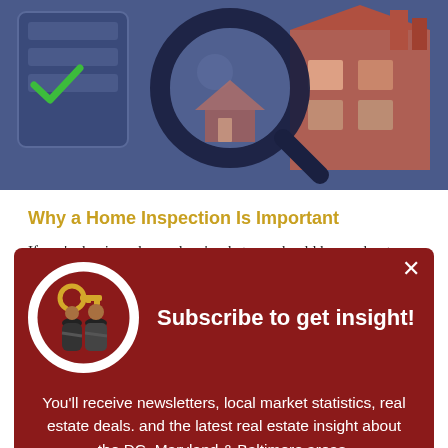[Figure (illustration): Home inspection themed illustration: checklist with green checkmark on left, large magnifying glass over a house icon in center-right, dark blue/navy background]
Why a Home Inspection Is Important
If you're buying a home, here's what you should know about your home inspection and why it's so important
[Figure (illustration): Subscribe modal popup with dark red background. Avatar circle showing two people (man and woman) with a gold key logo. Title: Subscribe to get insight! Body text about newsletters and real estate. Subscribe now button.]
Subscribe to get insight!
You'll receive newsletters, local market statistics, real estate deals. and the latest real estate insight about the DC, Maryland & Baltimore areas.
Subscribe now